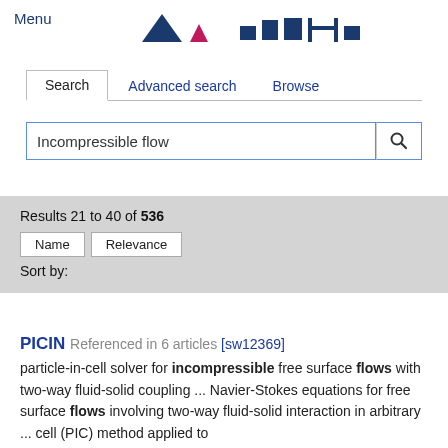Menu
[Figure (logo): MATLIB logo with dark blue and pink triangles and text marks]
Search | Advanced search | Browse (tab navigation)
Incompressible flow (search input)
Results 21 to 40 of 536
Sort by: Name  Relevance
PICIN  Referenced in 6 articles [sw12369]
particle-in-cell solver for incompressible free surface flows with two-way fluid-solid coupling ... Navier-Stokes equations for free surface flows involving two-way fluid-solid interaction in arbitrary ... cell (PIC) method applied to